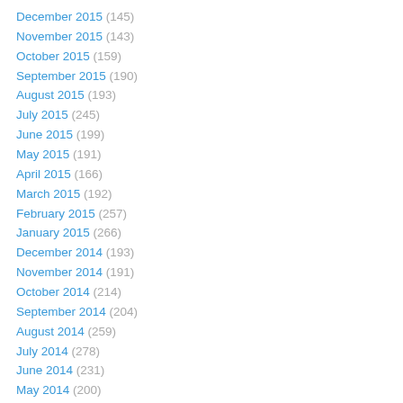December 2015 (145)
November 2015 (143)
October 2015 (159)
September 2015 (190)
August 2015 (193)
July 2015 (245)
June 2015 (199)
May 2015 (191)
April 2015 (166)
March 2015 (192)
February 2015 (257)
January 2015 (266)
December 2014 (193)
November 2014 (191)
October 2014 (214)
September 2014 (204)
August 2014 (259)
July 2014 (278)
June 2014 (231)
May 2014 (200)